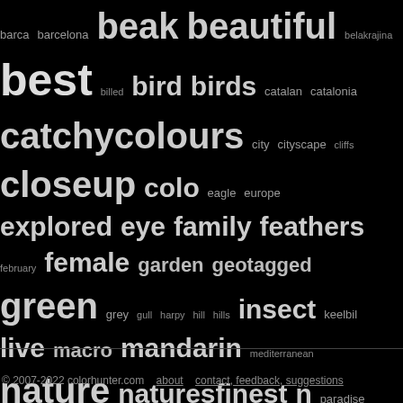barca barcelona beak beautiful belakrajina best billed bird birds catalan catalonia catchycolours city cityscape cliffs closeup colo eagle europe explored eye family feathers february female garden geotagged green grey gull harpy hill hills insect keelbil live macro mandarin mediterranean nature naturesfinest n paradise park party photo photography photos placa prelesi seagull sky slovenia slovenija sodevci sodevskastena spain spec swimming tail topview toucan trees urban valley viewpoint villag yellow 2016 212027 222225 242926 273712 464934 545558 565857 56595
© 2007-2022 colorhunter.com   about   contact, feedback, suggestions